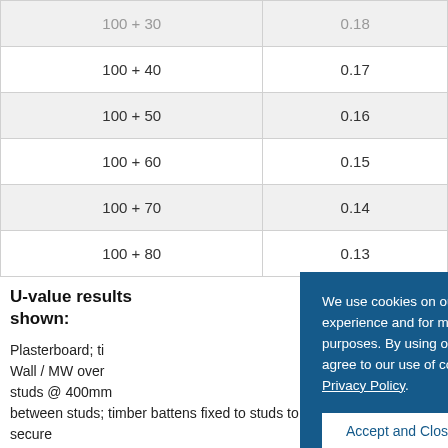| Insulation thickness (mm) | U-value (W/m²K) |
| --- | --- |
| 100 + 30 | 0.18 |
| 100 + 40 | 0.17 |
| 100 + 50 | 0.16 |
| 100 + 60 | 0.15 |
| 100 + 70 | 0.14 |
| 100 + 80 | 0.13 |
U-value results shown:
Plasterboard; ti... Wall / MW over ... studs @ 400mm ... between studs; timber battens fixed to studs to secure